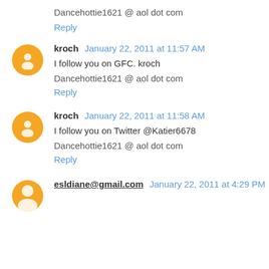Dancehottie1621 @ aol dot com
Reply
kroch  January 22, 2011 at 11:57 AM
I follow you on GFC. kroch
Dancehottie1621 @ aol dot com
Reply
kroch  January 22, 2011 at 11:58 AM
I follow you on Twitter @Katier6678
Dancehottie1621 @ aol dot com
Reply
esldiane@gmail.com  January 22, 2011 at 4:29 PM